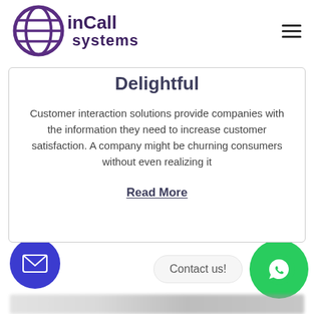[Figure (logo): inCall Systems logo — purple globe with horizontal lines and purple bold text 'inCall systems']
Delightful
Customer interaction solutions provide companies with the information they need to increase customer satisfaction. A company might be churning consumers without even realizing it
Read More
[Figure (infographic): Email contact button (blue circle with envelope icon), Contact us! speech bubble, WhatsApp button (green circle with phone icon)]